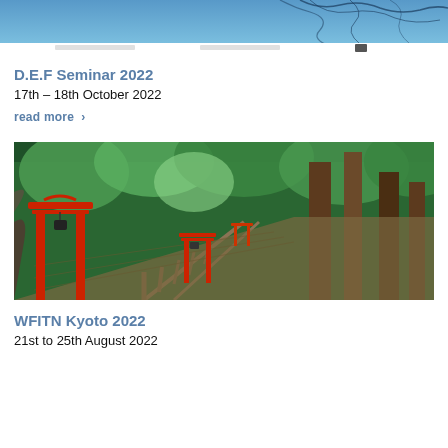[Figure (photo): Website header image with blue abstract background and dark branch silhouettes, with navigation bar below]
D.E.F Seminar 2022
17th – 18th October 2022
read more  >
[Figure (photo): Photo of a Japanese Shinto shrine pathway with red torii gates leading through tall cedar trees in a lush green forest]
WFITN Kyoto 2022
21st to 25th August 2022